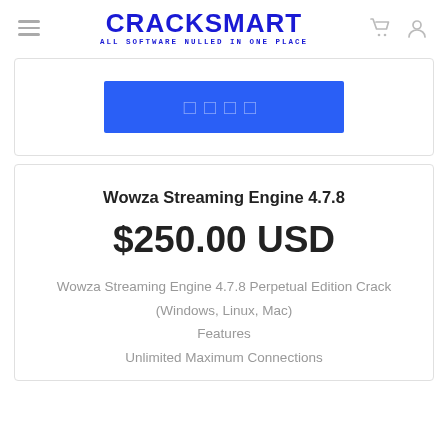CRACKSMART ALL SOFTWARE NULLED IN ONE PLACE
[Figure (screenshot): Blue button with obscured/placeholder text squares in a card]
Wowza Streaming Engine 4.7.8
$250.00 USD
Wowza Streaming Engine 4.7.8 Perpetual Edition Crack
(Windows, Linux, Mac)
Features
Unlimited Maximum Connections